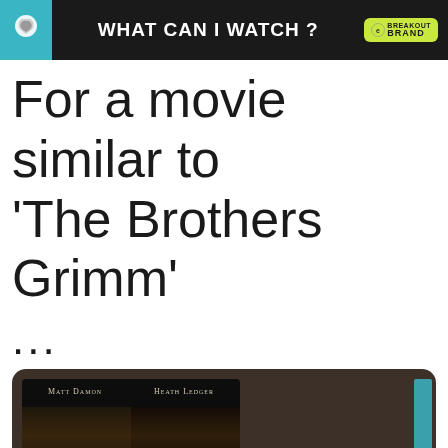WHAT CAN I WATCH ? — BREAKOUT BRAND
For a movie similar to 'The Brothers Grimm'
...
[Figure (screenshot): Movie card showing The Brothers Grimm poster with Matt Damon and Heath Ledger, overlaid with an environmental ad banner: 'Just $2 can protect 1 acre of irreplaceable forest homes in the Amazon. How many acres are you willing to protect?' with a green PROTECT FORESTS NOW button.]